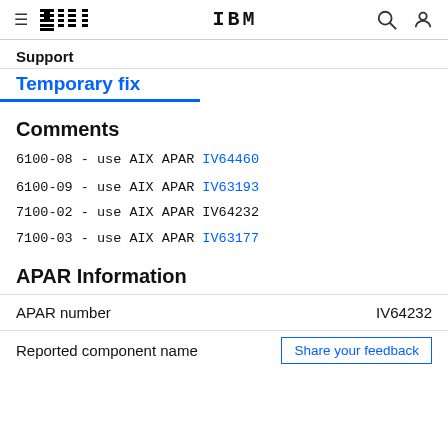☰ IBM  🔍  👤
Support
Temporary fix
Comments
6100-08 - use AIX APAR IV64460
6100-09 - use AIX APAR IV63193
7100-02 - use AIX APAR IV64232
7100-03 - use AIX APAR IV63177
APAR Information
| Field | Value |
| --- | --- |
| APAR number | IV64232 |
| Reported component name | Share your feedback |